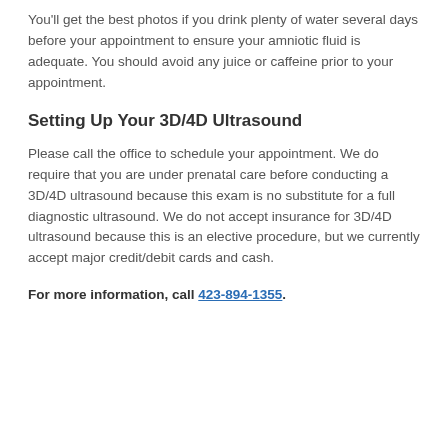You'll get the best photos if you drink plenty of water several days before your appointment to ensure your amniotic fluid is adequate. You should avoid any juice or caffeine prior to your appointment.
Setting Up Your 3D/4D Ultrasound
Please call the office to schedule your appointment. We do require that you are under prenatal care before conducting a 3D/4D ultrasound because this exam is no substitute for a full diagnostic ultrasound. We do not accept insurance for 3D/4D ultrasound because this is an elective procedure, but we currently accept major credit/debit cards and cash.
For more information, call 423-894-1355.